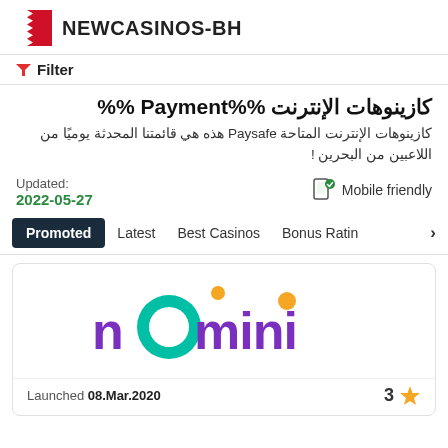NEWCASINOS-BH
Filter
كازينوهات الإنترنت %% Payment%%
كازينوهات الإنترنت المتاحة Paysafe هذه هي قائمتنا المحدثة يوميًا من اللاعبين من البحرين !
Updated: 2022-05-27
Mobile friendly
Promoted Latest Best Casinos Bonus Rating
[Figure (logo): Nomini casino logo with purple text and teal circle, orange dots]
Launched 08.Mar.2020  3